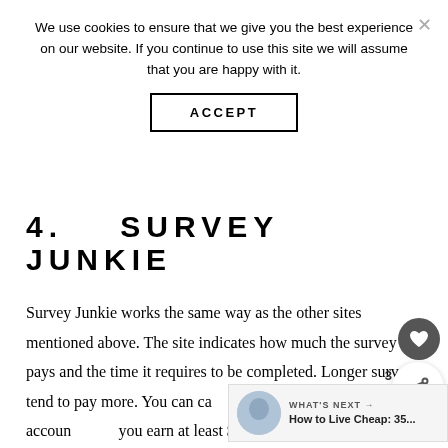We use cookies to ensure that we give you the best experience on our website. If you continue to use this site we will assume that you are happy with it.
ACCEPT
4.   SURVEY JUNKIE
Survey Junkie works the same way as the other sites mentioned above. The site indicates how much the survey pays and the time it requires to be completed. Longer surveys tend to pay more. You can cash your earnings to your PayPal account when you earn at least $5.